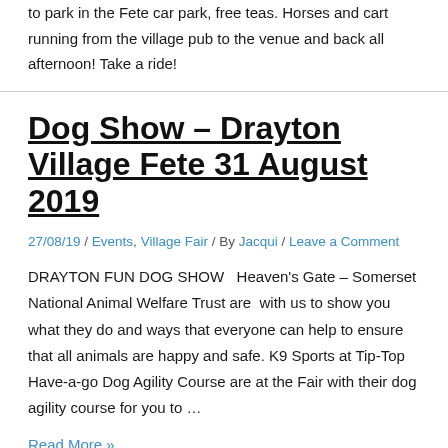to park in the Fete car park, free teas. Horses and cart running from the village pub to the venue and back all afternoon! Take a ride!
Dog Show – Drayton Village Fete 31 August 2019
27/08/19 / Events, Village Fair / By Jacqui / Leave a Comment
DRAYTON FUN DOG SHOW   Heaven's Gate – Somerset National Animal Welfare Trust are  with us to show you what they do and ways that everyone can help to ensure that all animals are happy and safe. K9 Sports at Tip-Top Have-a-go Dog Agility Course are at the Fair with their dog agility course for you to …
Read More »
Drayton Village Fair 2022